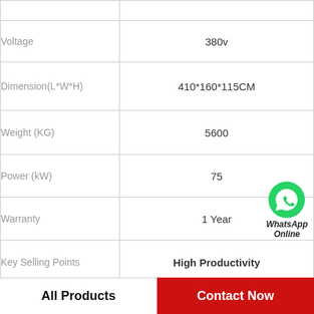| Property | Value |
| --- | --- |
| Voltage | 380v |
| Dimension(L*W*H) | 410*160*115CM |
| Weight (KG) | 5600 |
| Power (kW) | 75 |
| Warranty | 1 Year |
| Key Selling Points | High Productivity |
| Applicable Industries | chemical&machinery equipment |
| Showroom Location | None |
[Figure (logo): WhatsApp Online badge with green phone icon]
All Products
Contact Now